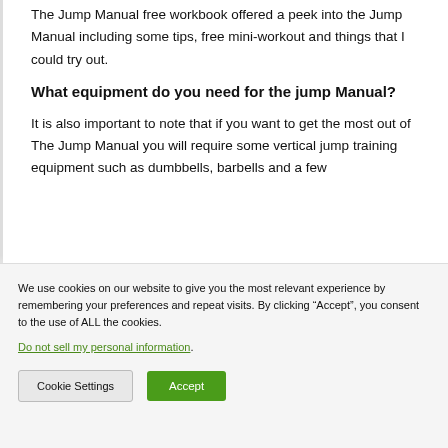The Jump Manual free workbook offered a peek into the Jump Manual including some tips, free mini-workout and things that I could try out.
What equipment do you need for the jump Manual?
It is also important to note that if you want to get the most out of The Jump Manual you will require some vertical jump training equipment such as dumbbells, barbells and a few...
We use cookies on our website to give you the most relevant experience by remembering your preferences and repeat visits. By clicking “Accept”, you consent to the use of ALL the cookies.
Do not sell my personal information.